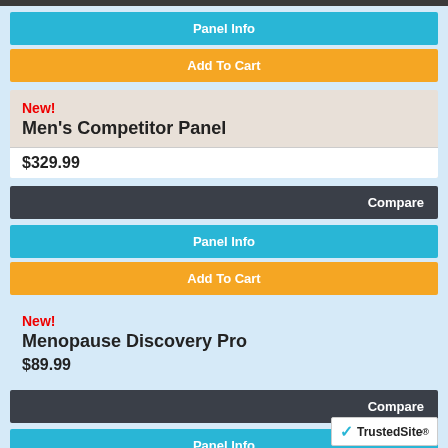Panel Info
Add To Cart
New!
Men's Competitor Panel
$329.99
Compare
Panel Info
Add To Cart
New!
Menopause Discovery Pro
$89.99
Compare
Panel Info
Add To Cart
Menopause Panel
TrustedSite